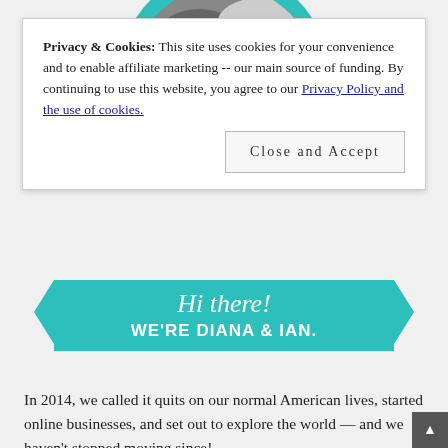Privacy & Cookies: This site uses cookies for your convenience and to enable affiliate marketing -- our main source of funding. By continuing to use this website, you agree to our Privacy Policy and the use of cookies.
Close and Accept
[Figure (illustration): Teal circular badge with black and white photo of two smiling women, with a teal ribbon banner below reading 'Hi there! WE'RE DIANA & IAN.']
In 2014, we called it quits on our normal American lives, started online businesses, and set out to explore the world — and we haven't stopped moving since!
Now married and based out of a minimalist home in Chicago and campervan for our U.S. travels and photography, we're still living and blogging our way...